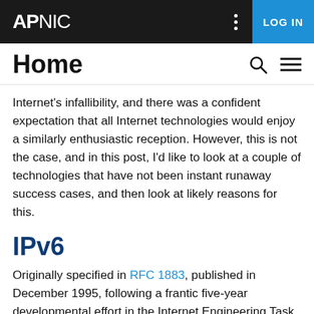APNIC  LOG IN
Home
Internet's infallibility, and there was a confident expectation that all Internet technologies would enjoy a similarly enthusiastic reception. However, this is not the case, and in this post, I'd like to look at a couple of technologies that have not been instant runaway success cases, and then look at likely reasons for this.
IPv6
Originally specified in RFC 1883, published in December 1995, following a frantic five-year developmental effort in the Internet Engineering Task Force (IETF), IPv6 did not enjoy a runaway level of success in terms of deployment.